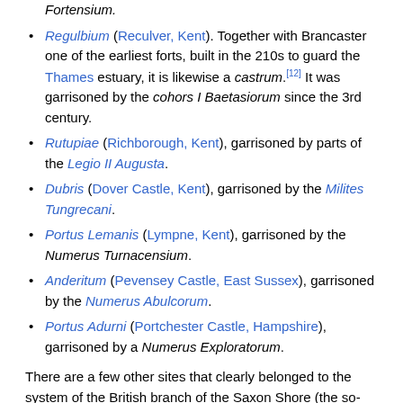Fortensium.
Regulbium (Reculver, Kent). Together with Brancaster one of the earliest forts, built in the 210s to guard the Thames estuary, it is likewise a castrum.[12] It was garrisoned by the cohors I Baetasiorum since the 3rd century.
Rutupiae (Richborough, Kent), garrisoned by parts of the Legio II Augusta.
Dubris (Dover Castle, Kent), garrisoned by the Milites Tungrecani.
Portus Lemanis (Lympne, Kent), garrisoned by the Numerus Turnacensium.
Anderitum (Pevensey Castle, East Sussex), garrisoned by the Numerus Abulcorum.
Portus Adurni (Portchester Castle, Hampshire), garrisoned by a Numerus Exploratorum.
There are a few other sites that clearly belonged to the system of the British branch of the Saxon Shore (the so-called "Wash-Solent limes"), although they are not included in the Notitia, such as the forts at Walton Castle, Suffolk, which has by now sunk into the sea